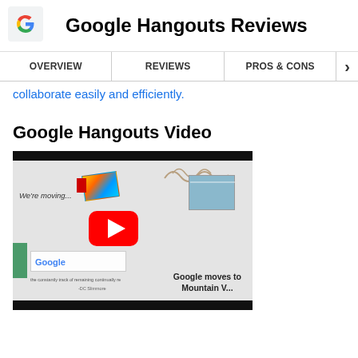Google Hangouts Reviews
OVERVIEW | REVIEWS | PROS & CONS
collaborate easily and efficiently.
Google Hangouts Video
[Figure (screenshot): A YouTube video thumbnail showing a Google Hangouts video. The thumbnail shows a presentation slide with a 'We're moving' message, a Google logo, and text reading 'Google moves to Mountain V...' with a YouTube play button overlay.]